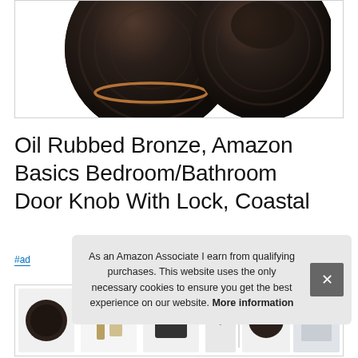[Figure (photo): Oil rubbed bronze door knobs — two dark brown/bronze knobs with copper accent ring, photographed against white background, partially cropped at top]
Oil Rubbed Bronze, Amazon Basics Bedroom/Bathroom Door Knob With Lock, Coastal
#ad
[Figure (photo): Thumbnail strip of product images at the bottom of the page, partially visible]
As an Amazon Associate I earn from qualifying purchases. This website uses the only necessary cookies to ensure you get the best experience on our website. More information